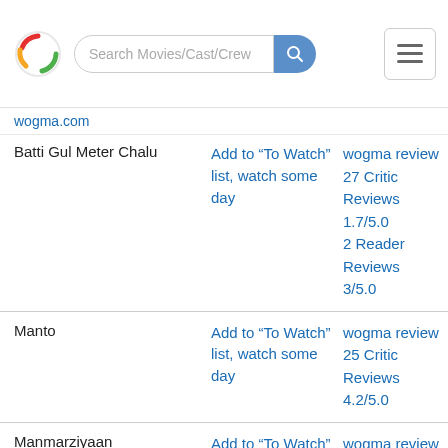Search Movies/Cast/Crew
wogma.com
| Movie | Action | Info |
| --- | --- | --- |
| Batti Gul Meter Chalu | Add to “To Watch” list, watch some day | wogma review
27 Critic Reviews
1.7/5.0
2 Reader Reviews
3/5.0 |
| Manto | Add to “To Watch” list, watch some day | wogma review
25 Critic Reviews
4.2/5.0 |
| Manmarziyaan | Add to “To Watch” list, watch some day | wogma review
Preview
35 Critic |